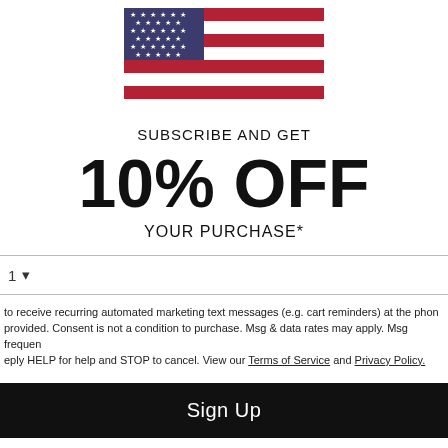[Figure (illustration): American flag (stars and stripes) illustration, cropped showing top portion]
SUBSCRIBE AND GET
10% OFF
YOUR PURCHASE*
1 ▾
to receive recurring automated marketing text messages (e.g. cart reminders) at the phone provided. Consent is not a condition to purchase. Msg & data rates may apply. Msg frequency reply HELP for help and STOP to cancel. View our Terms of Service and Privacy Policy.
Sign Up
No Thanks